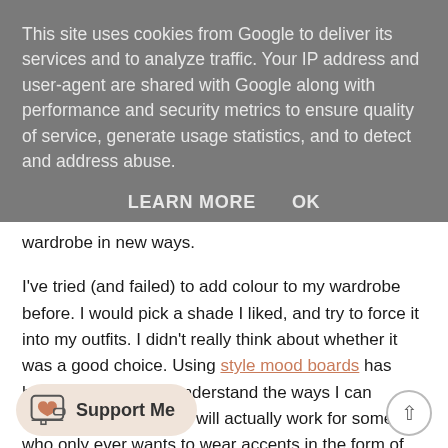This site uses cookies from Google to deliver its services and to analyze traffic. Your IP address and user-agent are shared with Google along with performance and security metrics to ensure quality of service, generate usage statistics, and to detect and address abuse.
LEARN MORE    OK
wardrobe in new ways.
I've tried (and failed) to add colour to my wardrobe before. I would pick a shade I liked, and try to force it into my outfits. I didn't really think about whether it was a good choice. Using style mood boards has helped me to better understand the ways I can incorporate colour that will actually work for someone who only ever wants to wear accents in the form of tote bag and atement.